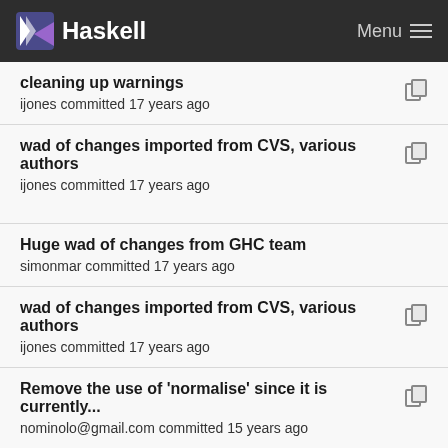Haskell
cleaning up warnings
ijones committed 17 years ago
wad of changes imported from CVS, various authors
ijones committed 17 years ago
Huge wad of changes from GHC team
simonmar committed 17 years ago
wad of changes imported from CVS, various authors
ijones committed 17 years ago
Remove the use of 'normalise' since it is currently...
nominolo@gmail.com committed 15 years ago
Huge wad of changes from GHC team
simonmar committed 17 years ago